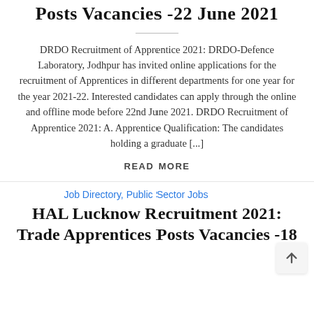Posts Vacancies -22 June 2021
DRDO Recruitment of Apprentice 2021: DRDO-Defence Laboratory, Jodhpur has invited online applications for the recruitment of Apprentices in different departments for one year for the year 2021-22. Interested candidates can apply through the online and offline mode before 22nd June 2021. DRDO Recruitment of Apprentice 2021: A. Apprentice Qualification: The candidates holding a graduate [...]
READ MORE
Job Directory, Public Sector Jobs
HAL Lucknow Recruitment 2021: Trade Apprentices Posts Vacancies -18